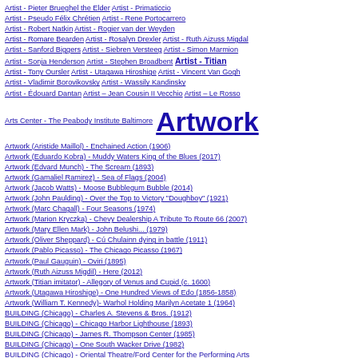Artist - Pieter Brueghel the Elder  Artist - Primaticcio
Artist - Pseudo Félix Chrétien  Artist - Rene Portocarrero
Artist - Robert Natkin  Artist - Rogier van der Weyden
Artist - Romare Bearden  Artist - Rosalyn Drexler  Artist - Ruth Aizuss Migdal
Artist - Sanford Biggers  Artist - Siebren Versteeg  Artist - Simon Marmion
Artist - Sonja Henderson  Artist - Stephen Broadbent  Artist - Titian
Artist - Tony Oursler  Artist - Utagawa Hiroshige  Artist - Vincent Van Gogh
Artist - Vladimir Borovikovsky  Artist - Wassily Kandinsky
Artist - Édouard Dantan  Artist – Jean Cousin II Vecchio  Artist – Le Rosso
Arts Center - The Peabody Institute Baltimore  Artwork
Artwork (Aristide Maillol) - Enchained Action (1906)
Artwork (Eduardo Kobra) - Muddy Waters King of the Blues (2017)
Artwork (Edvard Munch) - The Scream (1893)
Artwork (Gamaliel Ramirez) - Sea of Flags (2004)
Artwork (Jacob Watts) - Moose Bubblegum Bubble (2014)
Artwork (John Paulding) - Over the Top to Victory "Doughboy" (1921)
Artwork (Marc Chagall) - Four Seasons (1974)
Artwork (Marion Kryczka) - Chevy Dealership A Tribute To Route 66 (2007)
Artwork (Mary Ellen Mark) - John Belushi... (1979)
Artwork (Oliver Sheppard) - Cú Chulainn dying in battle (1911)
Artwork (Pablo Picasso) - The Chicago Picasso (1967)
Artwork (Paul Gauguin) - Oviri (1895)
Artwork (Ruth Aizuss Migdil) - Here (2012)
Artwork (Titian imitator) - Allegory of Venus and Cupid (c. 1600)
Artwork (Utagawa Hiroshige) - One Hundred Views of Edo (1856-1858)
Artwork (William T. Kennedy)- Warhol Holding Marilyn Acetate 1 (1964)
BUILDING (Chicago) - Charles A. Stevens & Bros. (1912)
BUILDING (Chicago) - Chicago Harbor Lighthouse (1893)
BUILDING (Chicago) - James R. Thompson Center (1985)
BUILDING (Chicago) - One South Wacker Drive (1982)
BUILDING (Chicago) - Oriental Theatre/Ford Center for the Performing Arts (1926/1997)